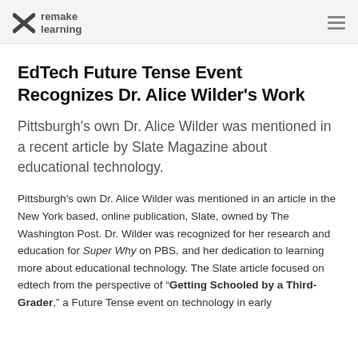remake learning
EdTech Future Tense Event Recognizes Dr. Alice Wilder's Work
Pittsburgh's own Dr. Alice Wilder was mentioned in a recent article by Slate Magazine about educational technology.
Pittsburgh's own Dr. Alice Wilder was mentioned in an article in the New York based, online publication, Slate, owned by The Washington Post. Dr. Wilder was recognized for her research and education for Super Why on PBS, and her dedication to learning more about educational technology. The Slate article focused on edtech from the perspective of “Getting Schooled by a Third-Grader,” a Future Tense event on technology in early